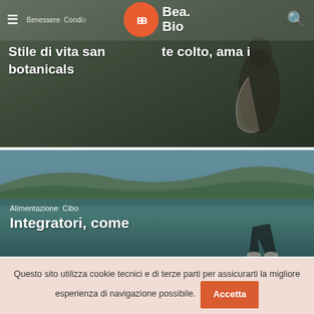[Figure (screenshot): Top hero banner with semi-transparent overlay, showing navigation bar with hamburger menu, 'Benessere Consci...' nav links, Bea.Bio orange logo, and search icon. White bold text reads 'Stile di vita san... ...te colto, ama i botanicals']
[Figure (screenshot): Second hero banner showing coastal/sea landscape with hills in background. White text labels 'Alimentazione Cibo' and bold title 'Integratori, come'. A person's legs visible at bottom right.]
Questo sito utilizza cookie tecnici e di terze parti per assicurarti la migliore esperienza di navigazione possibile.
Accetta
Rifiuta
Impostazioni
Per maggiori informazioni consulta la nostra Privacy & Cookie Policy